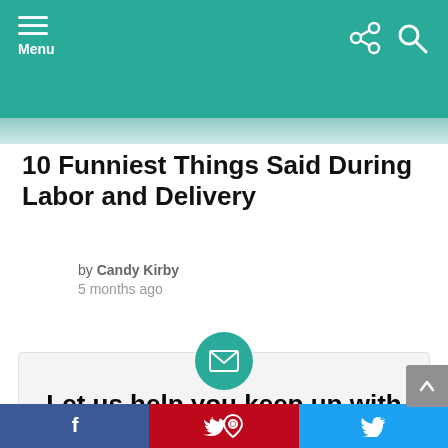Menu
[Figure (photo): Cropped photo strip at top of article]
10 Funniest Things Said During Labor and Delivery
by Candy Kirby
5 months ago
[Figure (infographic): Newsletter signup box with email icon circle. Heading: Let us help you keep up with the best stories! Body: We know motherhood can feel like Groundhog Day, so we'll help you spice it up with some variety in your in-box: parenting humor one day, great shopping deals or]
Facebook | Pinterest | Twitter social share bar